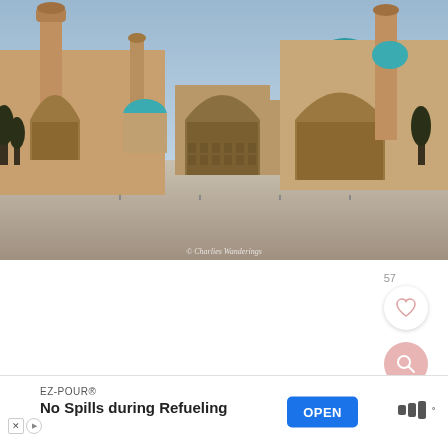[Figure (photo): Photograph of the Registan square in Samarkand, Uzbekistan. Shows historic Islamic architecture with two large ornate facades featuring tall minarets, decorated tiled surfaces with turquoise domes, and a wide open plaza in the foreground. Warm golden-hour light on the buildings against a soft blue sky. Watermark reads '© Charlies Wanderings'.]
57
EZ-POUR®
No Spills during Refueling
OPEN